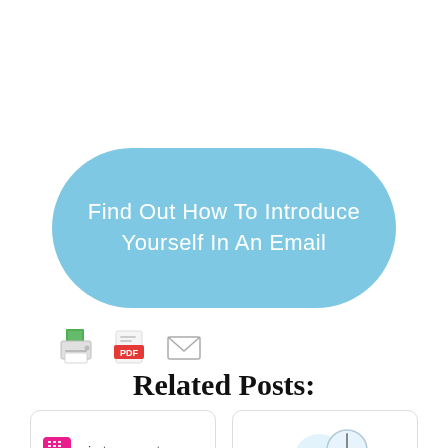[Figure (illustration): Blue pill-shaped button with white text reading 'Find Out How To Introduce Yourself In An Email']
[Figure (illustration): Three small icons in a row: a printer icon with green paper, a red PDF icon, and an envelope/email icon]
Related Posts:
[Figure (illustration): Card thumbnail showing 'just copy-paste' logo with pink keyboard icon]
[Figure (illustration): Card thumbnail showing a light blue illustrated scene with a clock]